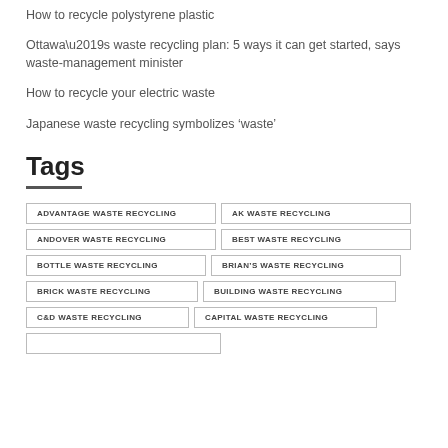How to recycle polystyrene plastic
Ottawa’s waste recycling plan: 5 ways it can get started, says waste-management minister
How to recycle your electric waste
Japanese waste recycling symbolizes ‘waste’
Tags
ADVANTAGE WASTE RECYCLING
AK WASTE RECYCLING
ANDOVER WASTE RECYCLING
BEST WASTE RECYCLING
BOTTLE WASTE RECYCLING
BRIAN’S WASTE RECYCLING
BRICK WASTE RECYCLING
BUILDING WASTE RECYCLING
C&D WASTE RECYCLING
CAPITAL WASTE RECYCLING